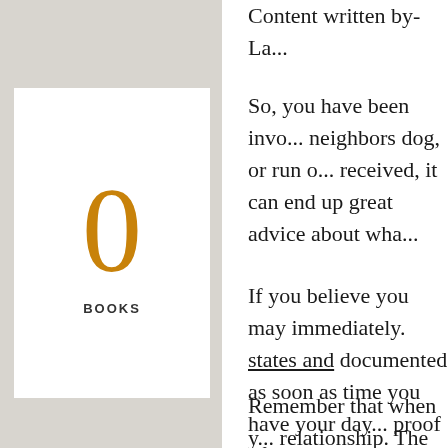[Figure (infographic): White box on gray background showing '0' in large orange font with 'BOOKS' label below in small caps]
Content written by-La...
So, you have been invo... neighbors dog, or run o... received, it can end up... great advice about wha...
If you believe you may... immediately. states and... documented as soon as... time you have your day... proof of them.
Remember that when y... relationship. The lawye... with. Likeability shoul... important factor to cons... case by putting a strai...